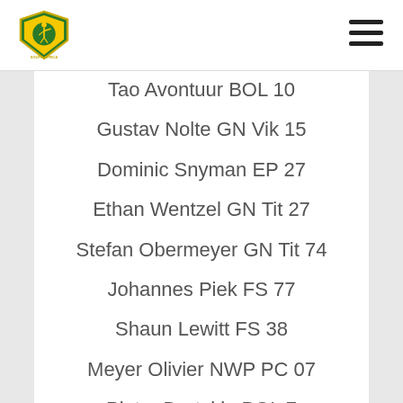South Africa Cricket Logo / Menu
Tao Avontuur BOL 10
Gustav Nolte GN Vik 15
Dominic Snyman EP 27
Ethan Wentzel GN Tit 27
Stefan Obermeyer GN Tit 74
Johannes Piek FS 77
Shaun Lewitt FS 38
Meyer Olivier NWP PC 07
Pieter Drotskie BOL 7
Marinus Bronkhorst EP 04